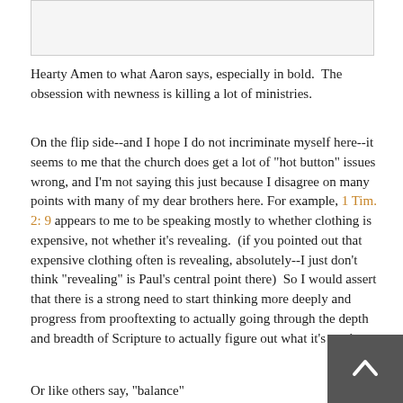[Figure (other): A rectangular image placeholder with light gray background and border at the top of the page.]
Hearty Amen to what Aaron says, especially in bold.  The obsession with newness is killing a lot of ministries.
On the flip side--and I hope I do not incriminate myself here--it seems to me that the church does get a lot of "hot button" issues wrong, and I'm not saying this just because I disagree on many points with many of my dear brothers here. For example, 1 Tim. 2: 9 appears to me to be speaking mostly to whether clothing is expensive, not whether it's revealing.  (if you pointed out that expensive clothing often is revealing, absolutely--I just don't think "revealing" is Paul's central point there)  So I would assert that there is a strong need to start thinking more deeply and progress from prooftexting to actually going through the depth and breadth of Scripture to actually figure out what it's getting at.
Or like others say, "balance"